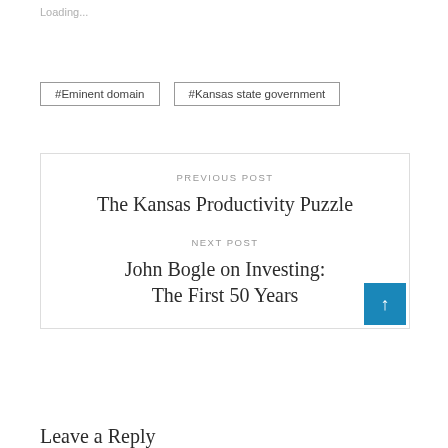Loading...
#Eminent domain
#Kansas state government
PREVIOUS POST
The Kansas Productivity Puzzle
NEXT POST
John Bogle on Investing: The First 50 Years
Leave a Reply